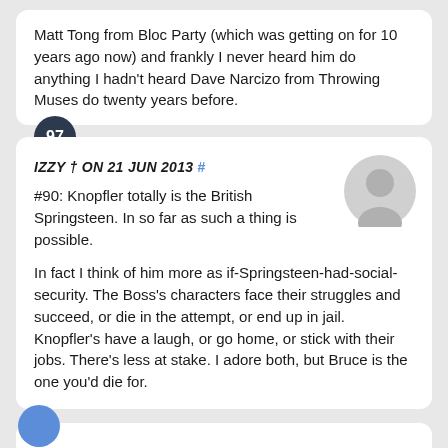Matt Tong from Bloc Party (which was getting on for 10 years ago now) and frankly I never heard him do anything I hadn't heard Dave Narcizo from Throwing Muses do twenty years before.
IZZY † ON 21 JUN 2013 #
#90: Knopfler totally is the British Springsteen. In so far as such a thing is possible.
In fact I think of him more as if-Springsteen-had-social-security. The Boss's characters face their struggles and succeed, or die in the attempt, or end up in jail. Knopfler's have a laugh, or go home, or stick with their jobs. There's less at stake. I adore both, but Bruce is the one you'd die for.